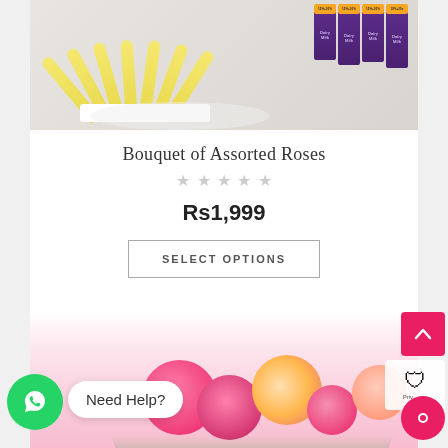[Figure (photo): Product photo of a gift arrangement with yellow paper fan decoration and Cadbury Dairy Milk chocolate bars on a white plate]
Bouquet of Assorted Roses
★★★★★ (empty stars rating)
Rs1,999
SELECT OPTIONS
[Figure (photo): Close-up photo of pink and peach assorted roses bouquet at bottom of page]
Need Help?